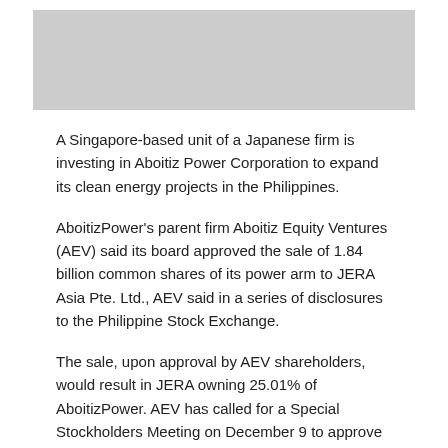[Figure (photo): Gray placeholder image at the top of the page]
A Singapore-based unit of a Japanese firm is investing in Aboitiz Power Corporation to expand its clean energy projects in the Philippines.
AboitizPower's parent firm Aboitiz Equity Ventures (AEV) said its board approved the sale of 1.84 billion common shares of its power arm to JERA Asia Pte. Ltd., AEV said in a series of disclosures to the Philippine Stock Exchange.
The sale, upon approval by AEV shareholders, would result in JERA owning 25.01% of AboitizPower. AEV has called for a Special Stockholders Meeting on December 9 to approve and ratify the deal.
In a separate statement by JERA, the firm said that it invested $1.58 billion (around Php80.6 billion) in